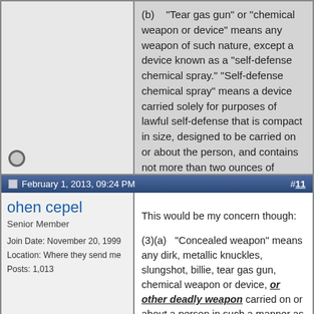(b) "Tear gas gun" or "chemical weapon or device" means any weapon of such nature, except a device known as a "self-defense chemical spray." "Self-defense chemical spray" means a device carried solely for purposes of lawful self-defense that is compact in size, designed to be carried on or about the person, and contains not more than two ounces of chemical.
February 1, 2013, 09:24 PM  #11
ohen cepel
Senior Member
Join Date: November 20, 1999
Location: Where they send me
Posts: 1,013
This would be my concern though:

(3)(a) "Concealed weapon" means any dirk, metallic knuckles, slungshot, billie, tear gas gun, chemical weapon or device, or other deadly weapon carried on or about a person in such a manner as to conceal the weapon from the ordinary sight of another person.

It may not be a firearm in their book, but it is a deadly weapon